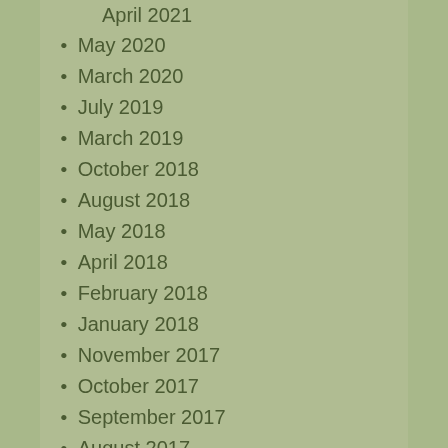April 2021 (truncated at top)
May 2020
March 2020
July 2019
March 2019
October 2018
August 2018
May 2018
April 2018
February 2018
January 2018
November 2017
October 2017
September 2017
August 2017
July 2017
June 2017